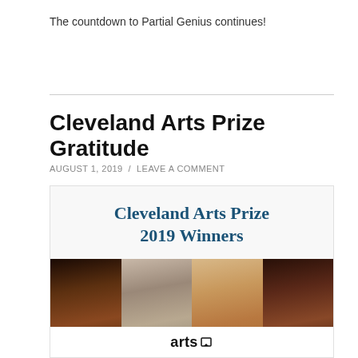The countdown to Partial Genius continues!
Cleveland Arts Prize Gratitude
AUGUST 1, 2019 / LEAVE A COMMENT
[Figure (photo): Cleveland Arts Prize 2019 Winners graphic showing the title text in teal/dark blue serif font above a row of four portrait photographs of the winners, with an 'artso' logo visible at the bottom center of the image.]